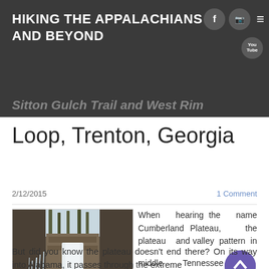HIKING THE APPALACHIANS AND BEYOND
Sitton Gulch Trail and West Rim Loop, Trenton, Georgia
2/12/2015
1 Comment
[Figure (photo): Winter waterfall scene with icicles hanging from rocky cliff face, frozen spray at base, turquoise pool, bare trees in background]
When hearing the name Cumberland Plateau, the plateau and valley pattern in middle Tennessee comes to mind. But did you know the plateau doesn't end there? On its way into Alabama, it passes through the extreme